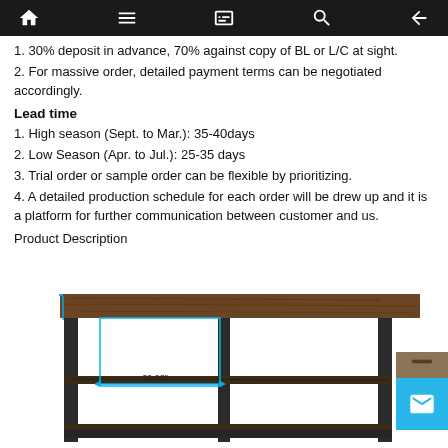Navigation bar with home, menu, book, search, and back icons
1. 30% deposit in advance, 70% against copy of BL or L/C at sight.
2. For massive order, detailed payment terms can be negotiated accordingly.
Lead time
1. High season (Sept. to Mar.): 35-40days
2. Low Season (Apr. to Jul.): 25-35 days
3. Trial order or sample order can be flexible by prioritizing.
4. A detailed production schedule for each order will be drew up and it is a platform for further communication between customer and us.
Product Description
[Figure (photo): A rustic industrial style TV stand/console table with dark wood top and black metal frame, showing two shelf levels. A blue measurement line indicates width of 29.92 inches.]